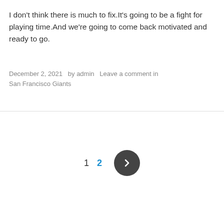I don't think there is much to fix.It's going to be a fight for playing time.And we're going to come back motivated and ready to go.
December 2, 2021   by admin   Leave a comment in
San Francisco Giants
1  2  >